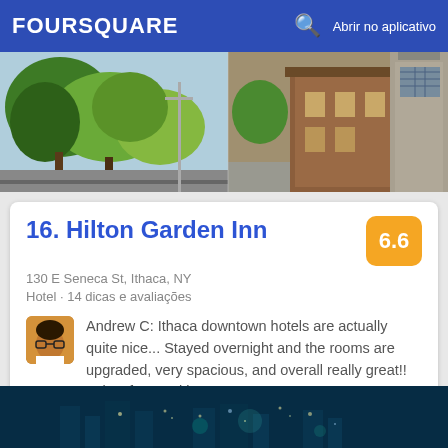FOURSQUARE   🔍   Abrir no aplicativo
[Figure (photo): Aerial/street view photo of Ithaca downtown showing trees and brick buildings]
16. Hilton Garden Inn
130 E Seneca St, Ithaca, NY
Hotel · 14 dicas e avaliações
Andrew C: Ithaca downtown hotels are actually quite nice... Stayed overnight and the rooms are upgraded, very spacious, and overall really great!! ~plus, free parking~
[Figure (photo): Night-time cityscape photo of Ithaca with lights]